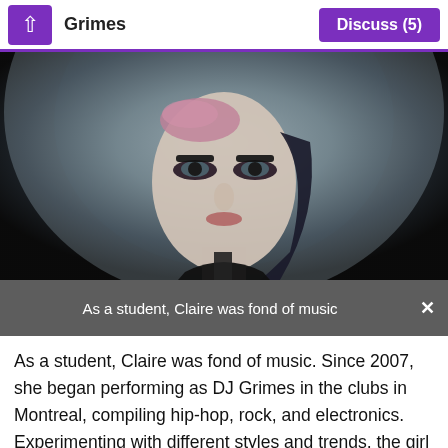Grimes  Discuss (5)
[Figure (photo): Close-up portrait photo of Grimes wearing a wide-brim grey hat, with pink hair, heavy eye makeup, against a dark background.]
As a student, Claire was fond of music
As a student, Claire was fond of music. Since 2007, she began performing as DJ Grimes in the clubs in Montreal, compiling hip-hop, rock, and electronics. Experimenting with different styles and trends, the girl found her unique sound. She and other musicians organized performances in an abandoned textile factory in the suburbs of